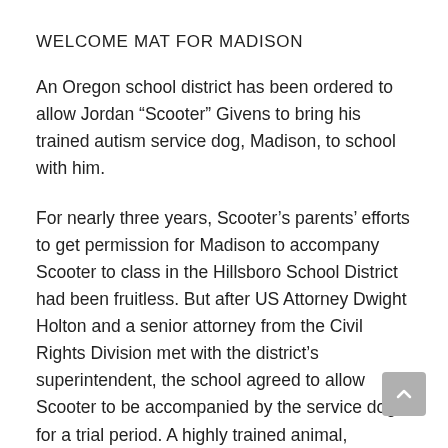WELCOME MAT FOR MADISON
An Oregon school district has been ordered to allow Jordan “Scooter” Givens to bring his trained autism service dog, Madison, to school with him.
For nearly three years, Scooter’s parents’ efforts to get permission for Madison to accompany Scooter to class in the Hillsboro School District had been fruitless. But after US Attorney Dwight Holton and a senior attorney from the Civil Rights Division met with the district’s superintendent, the school agreed to allow Scooter to be accompanied by the service dog for a trial period. A highly trained animal,